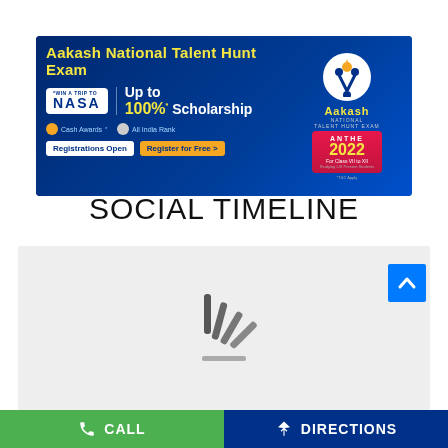[Figure (infographic): Aakash National Talent Hunt Exam (ANTHE 2022) advertisement banner. Dark blue background with yellow title text, NASA trip prize, 100% scholarship offer, cash awards, all India rank, registrations open button, and Aakash ANTHE 2022 logo on the right for Class VII to XII.]
SOCIAL TIMELINE
[Figure (screenshot): Loading spinner (three diagonal lines) on a light grey background indicating content is loading.]
CALL    DIRECTIONS